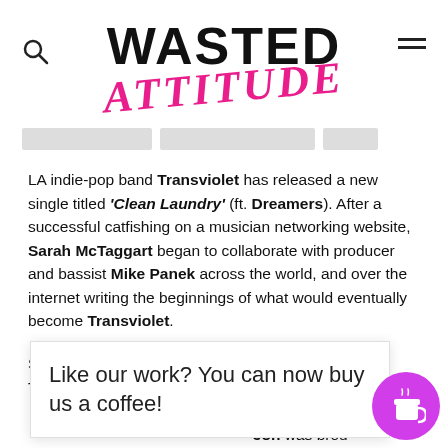[Figure (logo): Wasted Attitude logo: WASTED in bold black uppercase, ATTITUDE in bold italic pink/magenta below]
[Figure (screenshot): Navigation bar placeholder with three grey blocks]
LA indie-pop band Transviolet has released a new single titled 'Clean Laundry' (ft. Dreamers). After a successful catfishing on a musician networking website, Sarah McTaggart began to collaborate with producer and bassist Mike Panek across the world, and over the internet writing the beginnings of what would eventually become Transviolet.
She made the move from the Cayman Islands to Toronto, landing eventuall… and sparks fl… Jon was brou… gui… keys afte… g deal…
Like our work? You can now buy us a coffee!